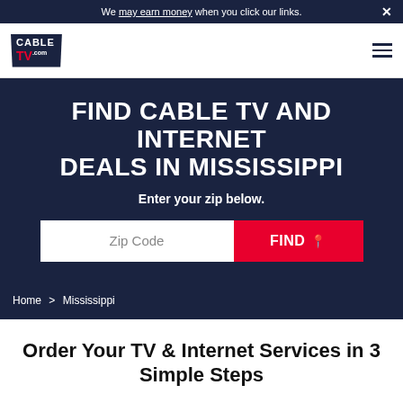We may earn money when you click our links.
[Figure (logo): CableTV.com logo in dark navy shield shape]
FIND CABLE TV AND INTERNET DEALS IN MISSISSIPPI
Enter your zip below.
Zip Code  FIND
Home > Mississippi
Order Your TV & Internet Services in 3 Simple Steps